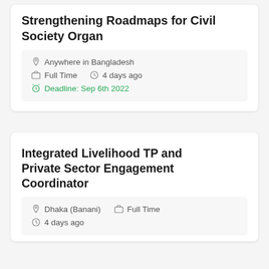Strengthening Roadmaps for Civil Society Organ
Anywhere in Bangladesh
Full Time   4 days ago
Deadline: Sep 6th 2022
Integrated Livelihood TP and Private Sector Engagement Coordinator
Dhaka (Banani)   Full Time
4 days ago